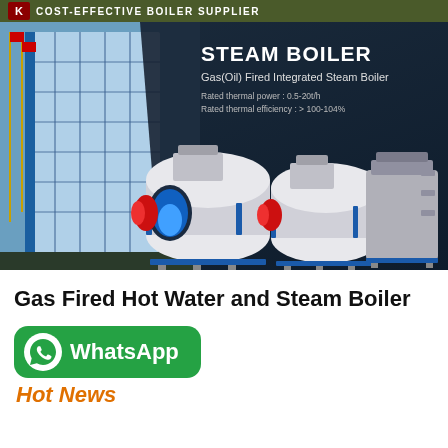COST-EFFECTIVE BOILER SUPPLIER
[Figure (photo): Product banner showing steam boilers with building in background. Text overlay reads: STEAM BOILER, Gas(Oil) Fired Integrated Steam Boiler, Rated thermal power: 0.5-20t/h, Rated thermal efficiency: > 100-104%]
Gas Fired Hot Water and Steam Boiler
[Figure (other): WhatsApp button with green background and phone icon]
Hot News